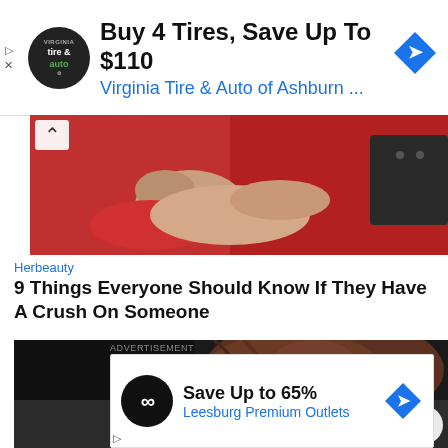[Figure (screenshot): Advertisement banner: tire and auto logo, text 'Buy 4 Tires, Save Up To $110', 'Virginia Tire & Auto of Ashburn ...' with blue arrow diamond icon]
[Figure (photo): Photo of a small animal (puppy or small dog) wrapped in a red/pink towel, held by a person, red background]
Herbeauty
9 Things Everyone Should Know If They Have A Crush On Someone
[Figure (photo): Photo of a woman with brown hair looking down, dark background, small white diamond shape overlay]
ADVERTISEMENT
[Figure (screenshot): Advertisement banner: infinity logo on black circle, 'Save Up to 65%', 'Leesburg Premium Outlets' with blue arrow diamond icon]